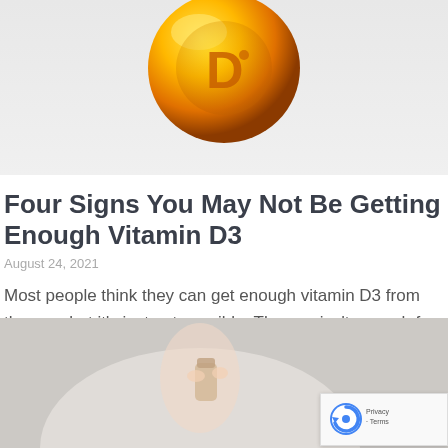[Figure (photo): Golden Vitamin D3 supplement pill/capsule ball with letter D on it, shown against a light gray background]
Four Signs You May Not Be Getting Enough Vitamin D3
August 24, 2021
Most people think they can get enough vitamin D3 from the sun, but it's just not possible. The sun isn't enough for most of us.
READ MORE »
[Figure (photo): Person in a white sweater holding a small supplement bottle or container, close-up shot]